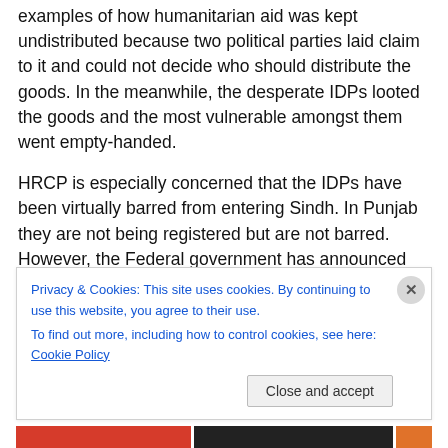examples of how humanitarian aid was kept undistributed because two political parties laid claim to it and could not decide who should distribute the goods. In the meanwhile, the desperate IDPs looted the goods and the most vulnerable amongst them went empty-handed.
HRCP is especially concerned that the IDPs have been virtually barred from entering Sindh. In Punjab they are not being registered but are not barred. However, the Federal government has announced that all rental deeds must be executed in police stations so that the police can "keep an eye" on the IDPs from leaving NWFP/Balkhtan... The
Privacy & Cookies: This site uses cookies. By continuing to use this website, you agree to their use.
To find out more, including how to control cookies, see here: Cookie Policy